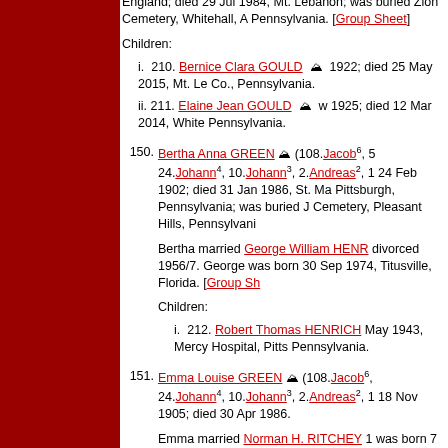England; died 29 Jul 1984, Mt. Lebanon; was buried Zion Cemetery, Whitehall, A Pennsylvania. [Group Sheet]
Children:
i. 210. Bernice Clara GOULD 1922; died 25 May 2015, Mt. Le Co., Pennsylvania.
ii. 211. Elaine Jean GOULD w 1925; died 12 Mar 2014, White Pennsylvania.
150. Bertha Anna GREEN (108.Jacob6, 5 24.Johann4, 10.Johann3, 2.Andreas2, 1 24 Feb 1902; died 31 Jan 1986, St. Ma Pittsburgh, Pennsylvania; was buried J Cemetery, Pleasant Hills, Pennsylvania
Bertha married George William HENRI divorced 1956/7. George was born 30 Sep 1974, Titusville, Florida. [Group Sh
Children:
i. 212. Robert Thomas HENRICH May 1943, Mercy Hospital, Pitts Pennsylvania.
151. Emma Louise GREEN (108.Jacob6, 24.Johann4, 10.Johann3, 2.Andreas2, 1 18 Nov 1905; died 30 Apr 1986.
Emma married Norman H. RITCHEY 1 was born 7 Feb 1908; died 17 Sep 19